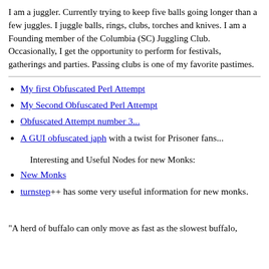I am a juggler. Currently trying to keep five balls going longer than a few juggles. I juggle balls, rings, clubs, torches and knives. I am a Founding member of the Columbia (SC) Juggling Club. Occasionally, I get the opportunity to perform for festivals, gatherings and parties. Passing clubs is one of my favorite pastimes.
My first Obfuscated Perl Attempt
My Second Obfuscated Perl Attempt
Obfuscated Attempt number 3...
A GUI obfuscated japh with a twist for Prisoner fans...
Interesting and Useful Nodes for new Monks:
New Monks
turnstep++ has some very useful information for new monks.
"A herd of buffalo can only move as fast as the slowest buffalo,